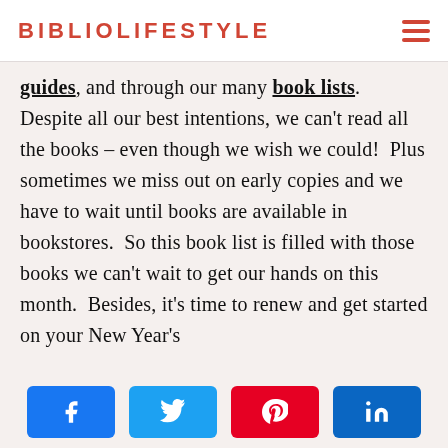BIBLIOLIFESTYLE
guides, and through our many book lists.  Despite all our best intentions, we can't read all the books – even though we wish we could!  Plus sometimes we miss out on early copies and we have to wait until books are available in bookstores.  So this book list is filled with those books we can't wait to get our hands on this month.  Besides, it's time to renew and get started on your New Year's